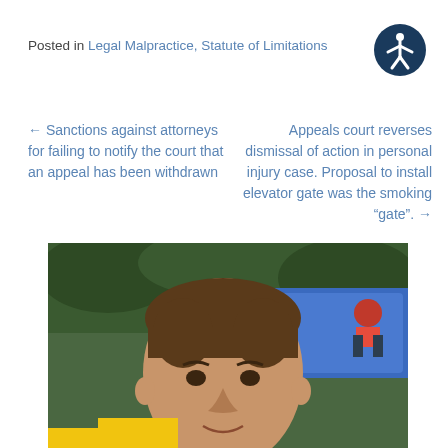Posted in Legal Malpractice, Statute of Limitations
[Figure (illustration): Accessibility icon — circular dark blue badge with a stylized human figure (arms and legs outstretched) in white]
← Sanctions against attorneys for failing to notify the court that an appeal has been withdrawn
Appeals court reverses dismissal of action in personal injury case. Proposal to install elevator gate was the smoking "gate". →
[Figure (photo): Close-up photo of a middle-aged man with dark brown hair, smiling slightly, outdoors with green foliage and a colorful screen/display visible in the background, and a yellow taxi cab partially visible at the bottom]